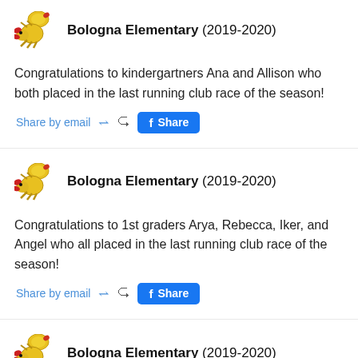Bologna Elementary (2019-2020)
Congratulations to kindergartners Ana and Allison who both placed in the last running club race of the season!
Bologna Elementary (2019-2020)
Congratulations to 1st graders Arya, Rebecca, Iker, and Angel who all placed in the last running club race of the season!
Bologna Elementary (2019-2020)
[Figure (photo): Photo of a person outdoors with trees in the background]